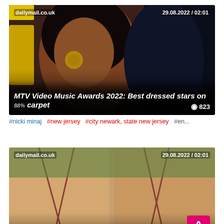[Figure (screenshot): News card 1: dailymail.co.uk, 29.08.2022 / 02:01. Photo of a woman at MTV VMAs. Title: MTV Video Music Awards 2022: Best dressed stars on red carpet. Views: 823.]
#nicki minaj #new jersey #city newark, state new jersey #en...
[Figure (screenshot): News card 2: dailymail.co.uk, 29.08.2022 / 02:01. Photo of Gal Gadot poolside in bikini. Title: Gal Gadot flaunts taut tummy in poolside bikini snaps months after welcoming third child. Views: 570.]